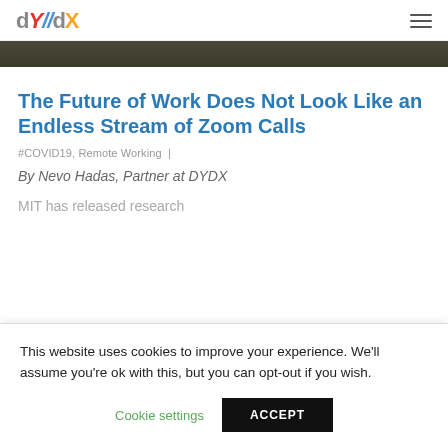dY/dX logo and hamburger menu
[Figure (photo): Partial image strip, dark olive/brown tones, top of an article hero image]
The Future of Work Does Not Look Like an Endless Stream of Zoom Calls
#COVID19, Remote Working  |
By Nevo Hadas, Partner at DYDX
MIT has released research
This website uses cookies to improve your experience. We'll assume you're ok with this, but you can opt-out if you wish.
Cookie settings   ACCEPT